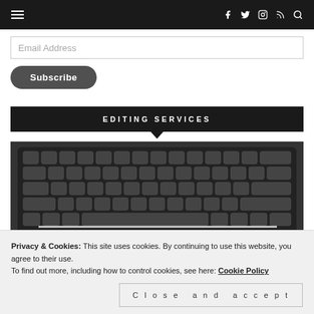Navigation bar with hamburger menu and social icons (f, twitter, instagram, rss, search)
Email Address
Subscribe
EDITING SERVICES
[Figure (photo): A laptop keyboard in black and white with the word EDITING partially visible at the bottom]
Privacy & Cookies: This site uses cookies. By continuing to use this website, you agree to their use.
To find out more, including how to control cookies, see here: Cookie Policy
Close and accept